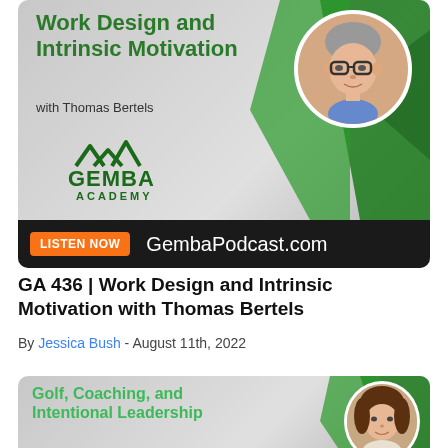[Figure (illustration): Gemba Academy podcast card for 'Work Design and Intrinsic Motivation with Thomas Bertels'. Shows Gemba Academy logo, green chevron design, circular headshot of Thomas Bertels (older man with glasses), and a 'LISTEN NOW' button with GembaPodcast.com URL on a dark bar.]
GA 436 | Work Design and Intrinsic Motivation with Thomas Bertels
By Jessica Bush - August 11th, 2022
[Figure (illustration): Gemba Academy podcast card for 'Golf, Coaching, and Intentional Leadership with Wendy Posillico'. Shows green text title, chevron design, and partial circular headshot of a woman.]